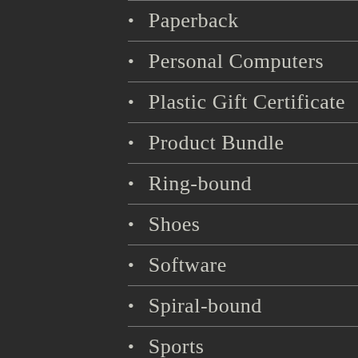Paperback
Personal Computers
Plastic Gift Certificate
Product Bundle
Ring-bound
Shoes
Software
Spiral-bound
Sports
Tools & Hardware
Tools & Home Improvement
T...